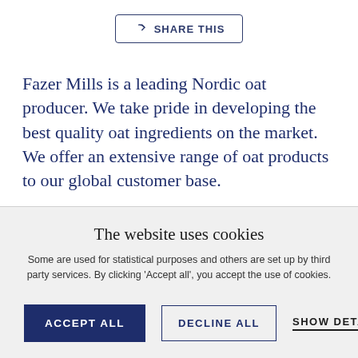[Figure (other): Share This button with curved arrow icon, bordered rectangle button]
Fazer Mills is a leading Nordic oat producer. We take pride in developing the best quality oat ingredients on the market. We offer an extensive range of oat products to our global customer base.
The website uses cookies
Some are used for statistical purposes and others are set up by third party services. By clicking 'Accept all', you accept the use of cookies.
ACCEPT ALL   DECLINE ALL   SHOW DETAILS